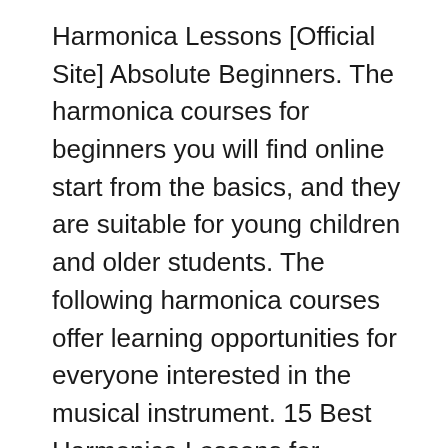Harmonica Lessons [Official Site] Absolute Beginners. The harmonica courses for beginners you will find online start from the basics, and they are suitable for young children and older students. The following harmonica courses offer learning opportunities for everyone interested in the musical instrument. 15 Best Harmonica Lessons for Beginners Review, A cheap harmonica is tough to learn on- Prices may vary, but it is best to buy a diatonic harmonica for no less than $35 to $60, because a cheap harmonica can be extremely difficult to learn on. Poor construction of inexpensive harmonicas causes them to leak air and makes them hard to play and difficult to learn important techniques like bending.